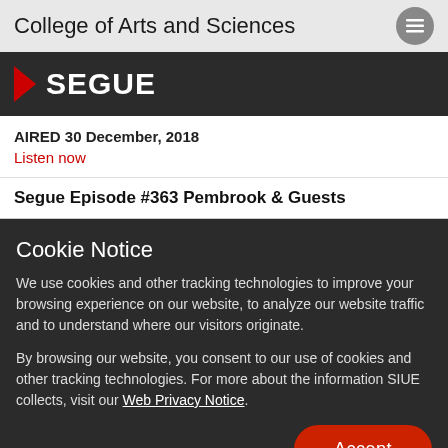College of Arts and Sciences
SEGUE
AIRED 30 December, 2018
Listen now
Segue Episode #363 Pembrook & Guests
Cookie Notice
We use cookies and other tracking technologies to improve your browsing experience on our website, to analyze our website traffic and to understand where our visitors originate.
By browsing our website, you consent to our use of cookies and other tracking technologies. For more about the information SIUE collects, visit our Web Privacy Notice.